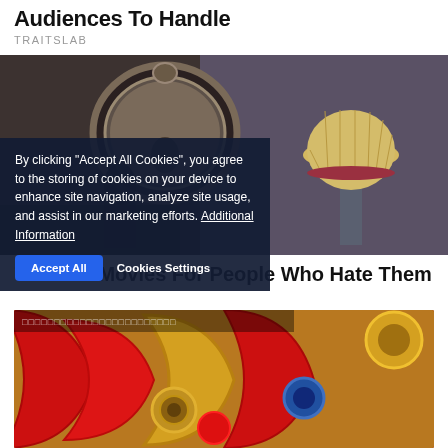Audiences To Handle
TRAITSLAB
[Figure (photo): Dark moody room with ornate oval mirror on wall and a vintage mushroom-shaped lamp on a pedestal]
By clicking "Accept All Cookies", you agree to the storing of cookies on your device to enhance site navigation, analyze site usage, and assist in our marketing efforts. Additional Information
Accept All   Cookies Settings
7 Horror Movies For People Who Hate Them
[Figure (photo): Close-up of shiny red and gold decorative carnival or festive ornaments and handles]